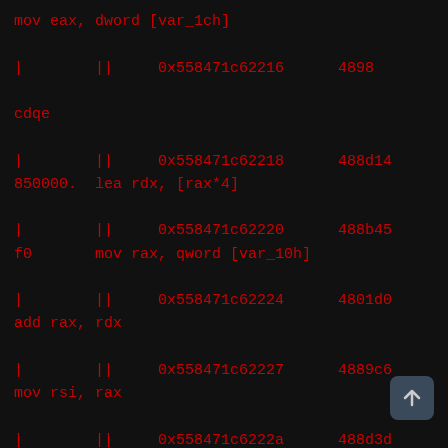mov eax, dword [var_1ch]
|        ||     0x558471c62216      4898
cdqe
|        ||     0x558471c62218      488d14
850000.  lea rdx, [rax*4]
|        ||     0x558471c62220      488b45
f0       mov rax, qword [var_10h]
|        ||     0x558471c62224      4801d0
add rax, rdx
|        ||     0x558471c62227      4889c6
mov rsi, rax
|        ||     0x558471c6222a      488d3d
f70d00.  lea rdi, [0x558471c63028] ; "%d"
|        ||     0x558471c62231      b80000